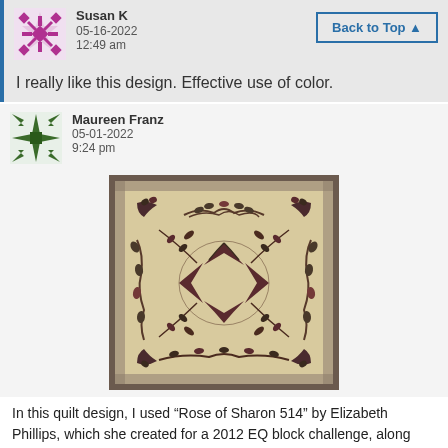Susan K
05-16-2022
12:49 am
I really like this design. Effective use of color.
Maureen Franz
05-01-2022
9:24 pm
[Figure (photo): A quilt design featuring Rose of Sharon 514 pattern with a Forget-me-not swag border on a beige/tan background with dark floral applique motifs arranged in a symmetric medallion layout.]
In this quilt design, I used “Rose of Sharon 514” by Elizabeth Phillips, which she created for a 2012 EQ block challenge, along with a “Forget-me-not” swag border. I downloaded the Rose of Sharon libraries from this site.